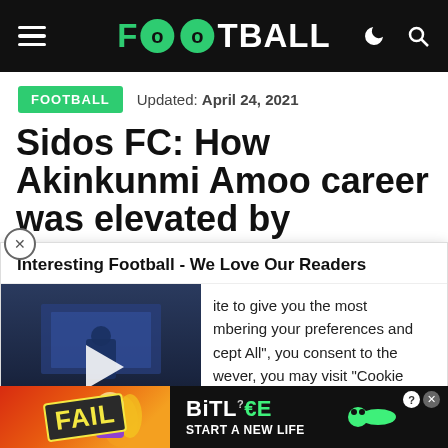FOOTBALL
FOOTBALL  Updated: April 24, 2021
Sidos FC: How Akinkunmi Amoo career was elevated by the...
[Figure (screenshot): Cookie consent popup overlaying article, with embedded video thumbnail showing a press conference scene with audience silhouettes, and text about cookie preferences. Contains close button, cookie settings and accept all buttons.]
[Figure (advertisement): BitLife mobile game advertisement banner at bottom with FAIL badge, snake icon, and START A NEW LIFE tagline on dark background]